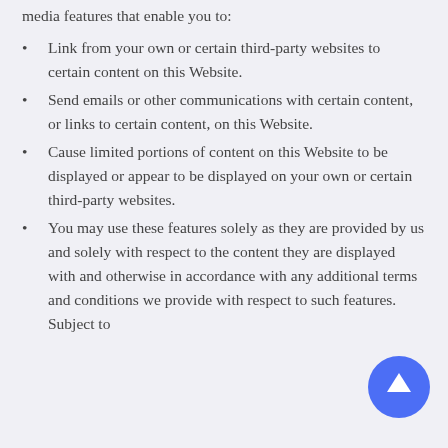media features that enable you to:
Link from your own or certain third-party websites to certain content on this Website.
Send emails or other communications with certain content, or links to certain content, on this Website.
Cause limited portions of content on this Website to be displayed or appear to be displayed on your own or certain third-party websites.
You may use these features solely as they are provided by us and solely with respect to the content they are displayed with and otherwise in accordance with any additional terms and conditions we provide with respect to such features. Subject to